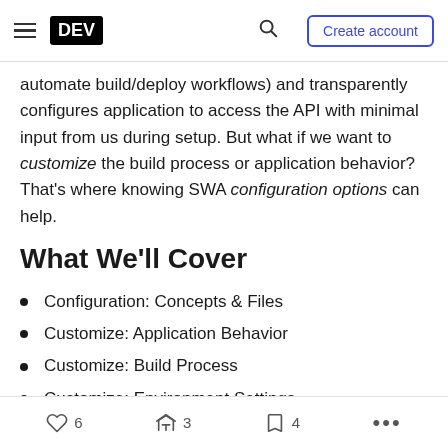DEV | Create account
automate build/deploy workflows) and transparently configures application to access the API with minimal input from us during setup. But what if we want to customize the build process or application behavior? That's where knowing SWA configuration options can help.
What We'll Cover
Configuration: Concepts & Files
Customize: Application Behavior
Customize: Build Process
Customize: Environment Settings
Execu...
6  3  4  ...